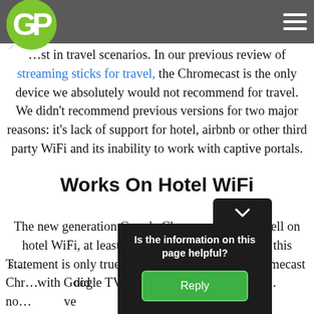GreenBot logo and navigation bar
…st in travel scenarios. In our previous review of streaming sticks for travel, the Chromecast is the only device we absolutely would not recommend for travel. We didn't recommend previous versions for two major reasons: it's lack of support for hotel, airbnb or other third party WiFi and its inability to work with captive portals.
Works On Hotel WiFi
The new generation Google Chromecast works well on hotel WiFi, at least for some features. However, this statement is only true for the new generation Chromecast with Google TV. Also, it's a limited statement…
T… e Chro… did no… ve
[Figure (screenshot): Dark popup overlay asking 'Is the information on this page helpful?' with a green Reply button]